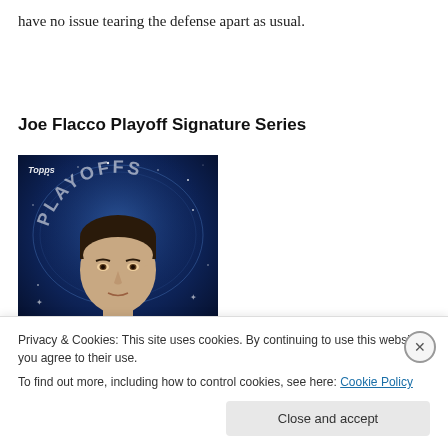have no issue tearing the defense apart as usual.
Joe Flacco Playoff Signature Series
[Figure (photo): Topps Playoffs trading card featuring Joe Flacco. Dark blue/space background with 'PLAYOFFS' text arced across the top, Topps logo in upper left, and a close-up photo of Joe Flacco's face.]
Privacy & Cookies: This site uses cookies. By continuing to use this website, you agree to their use.
To find out more, including how to control cookies, see here: Cookie Policy